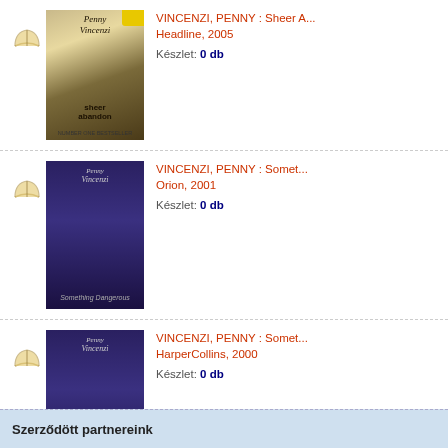[Figure (screenshot): Book listing row 1: Penny Vincenzi 'Sheer Abandon' cover, with book icon, title, publisher and stock info]
VINCENZI, PENNY : Sheer A... Headline, 2005
Készlet: 0 db
[Figure (screenshot): Book listing row 2: Penny Vincenzi 'Something Dangerous' cover, with book icon, title, publisher and stock info]
VINCENZI, PENNY : Somet... Orion, 2001
Készlet: 0 db
[Figure (screenshot): Book listing row 3: Penny Vincenzi 'Something Dangerous' cover HarperCollins edition, with book icon, title, publisher and stock info]
VINCENZI, PENNY : Somet... HarperCollins, 2000
Készlet: 0 db
1  2
Szerződött partnereink